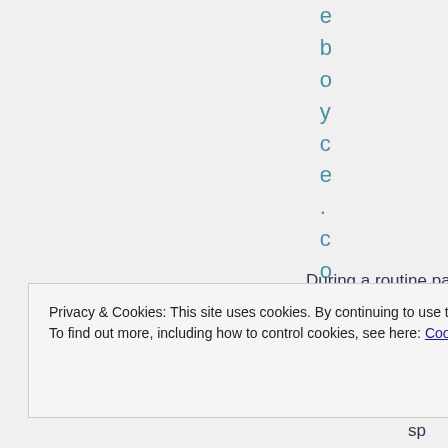e b o y c e . c o m /
During a routine patro police arrest two men
Privacy & Cookies: This site uses cookies. By continuing to use this website, you agree to their use. To find out more, including how to control cookies, see here: Cookie Policy
Close and accept